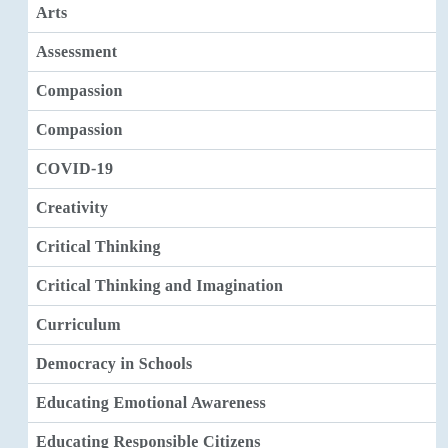Arts
Assessment
Compassion
Compassion
COVID-19
Creativity
Critical Thinking
Critical Thinking and Imagination
Curriculum
Democracy in Schools
Educating Emotional Awareness
Educating Responsible Citizens